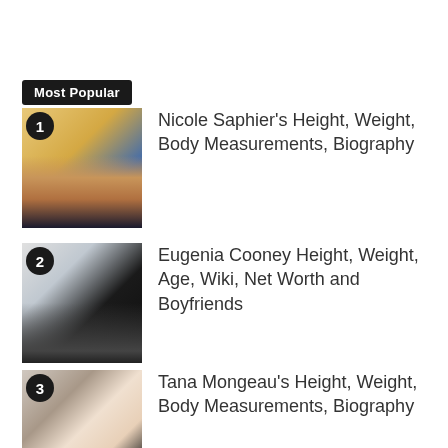Most Popular
Nicole Saphier's Height, Weight, Body Measurements, Biography
Eugenia Cooney Height, Weight, Age, Wiki, Net Worth and Boyfriends
Tana Mongeau's Height, Weight, Body Measurements, Biography